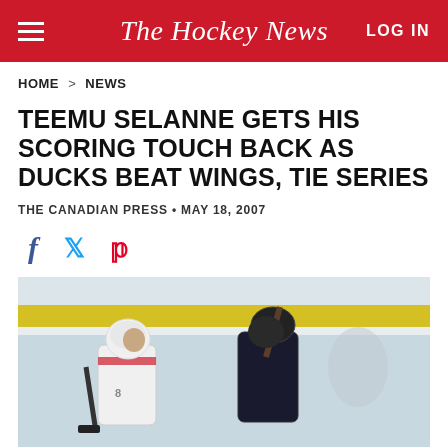The Hockey News
HOME > NEWS
TEEMU SELANNE GETS HIS SCORING TOUCH BACK AS DUCKS BEAT WINGS, TIE SERIES
THE CANADIAN PRESS • MAY 18, 2007
[Figure (other): Social sharing icons: Facebook, Twitter, Pinterest]
[Figure (photo): Hockey player in white jersey with helmet holding stick up, another player in dark jersey visible, ice rink background with yellow boards]